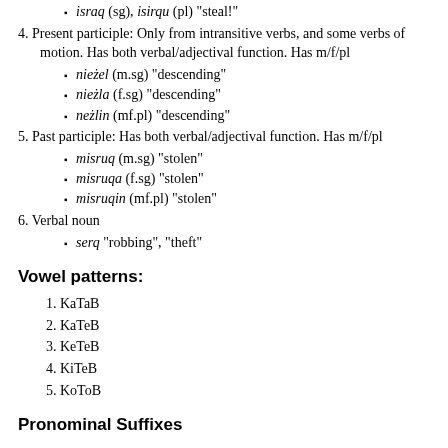israq (sg), isirqu (pl) "steal!"
4. Present participle: Only from intransitive verbs, and some verbs of motion. Has both verbal/adjectival function. Has m/f/pl
nieżel (m.sg) "descending"
nieżla (f.sg) "descending"
neżlin (mf.pl) "descending"
5. Past participle: Has both verbal/adjectival function. Has m/f/pl
misruq (m.sg) "stolen"
misruqa (f.sg) "stolen"
misruqin (mf.pl) "stolen"
6. Verbal noun
serq "robbing", "theft"
Vowel patterns:
1. KaTaB
2. KaTeB
3. KeTeB
4. KiTeB
5. KoToB
Pronominal Suffixes